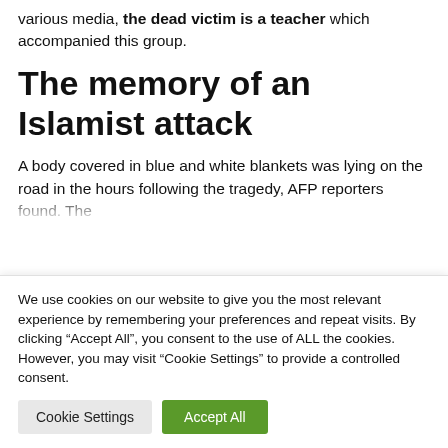various media, the dead victim is a teacher which accompanied this group.
The memory of an Islamist attack
A body covered in blue and white blankets was lying on the road in the hours following the tragedy, AFP reporters found. The
We use cookies on our website to give you the most relevant experience by remembering your preferences and repeat visits. By clicking “Accept All”, you consent to the use of ALL the cookies. However, you may visit "Cookie Settings" to provide a controlled consent.